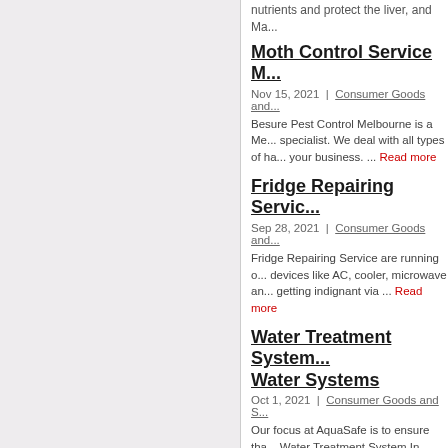nutrients and protect the liver, and Ma...
Moth Control Service M...
Nov 15, 2021 | Consumer Goods and...
Besure Pest Control Melbourne is a Me... specialist. We deal with all types of ha... your business. ... Read more
Fridge Repairing Servic...
Sep 28, 2021 | Consumer Goods and...
Fridge Repairing Service are running o... devices like AC, cooler, microwave an... getting indignant via ... Read more
Water Treatment System... Water Systems
Oct 1, 2021 | Consumer Goods and S...
Our focus at AquaSafe is to ensure tha... Water Treatment System In Wyoming,... their water needs at a fair ... Read mo...
Carpet repair
Oct 8, 2021 | Consumer Goods and S...
At Deep Clean Carpet & Tile, we know... technicians who perform it. Every mem... tackle even the toughest carpet ... Rea...
Heat Repair Columbia...